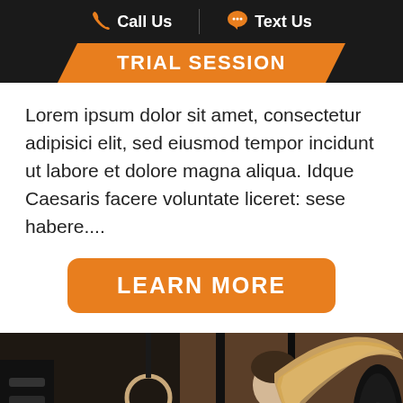📞 Call Us  💬 Text Us
TRIAL SESSION
Lorem ipsum dolor sit amet, consectetur adipisici elit, sed eiusmod tempor incidunt ut labore et dolore magna aliqua. Idque Caesaris facere voluntate liceret: sese habere....
LEARN MORE
[Figure (photo): Woman at a gym with long blonde ponytail, viewed from the side, with gym rings and equipment in the background]